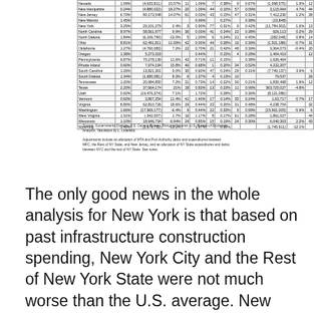| State | Share | Amount | Growth% | Rank | Share | Amount | Growth% | Rank | Share | Amount | Growth% | Rank |
| --- | --- | --- | --- | --- | --- | --- | --- | --- | --- | --- | --- | --- |
| Nevada | 1.09% | (4,633,811) | 15.07% | 11 | 1.09% | 7 | 0.38% | 9 | 0.67% | (1,998,575) | 1.3% | 12 |
| New Hampshire | 0.24% | (4,880,022) | 18.27% | 20 | 1.09% | 44 | 0.10% | 57 | 0.09% | 3,115,064 | 4.7% | 44 |
| New Jersey | 6.70% | 80,173,548 | 14.07% | 61 | 0.03% | 43 | 0.15% | 47 | 0.31% | 7,412,230 | 1.2% | 28 |
| New Mexico | 1.45% |  |  |  | 0.99% |  | 0.27% |  | 0.38% | (13,848) |  |  |
| New York | 3.25% | 29,101,279 | 2.4% | 3 | 0.90% | 77 | 0.31% | 9 | 0.42% | (11,784,302) | 1.6% | 13 |
| North Carolina | 8.97% | 58,561,977 | 9.9% | 36 | 0.03% | 41 | 0.24% | 22 | 0.38% | 926,113 | 0.2% | 29 |
| North Dakota | 1.84% | (6,109,790) | -13.0% | 5 | 1.00% | 6 | 0.24% | 21 | 0.45% | (282,048) | 0.8% | 14 |
| Ohio | 8.81% | 62,491,811 | 11.09% | 42 | 0.00% | 44 | 0.28% | 16 | 0.39% | (1,501,188) | -0.7% | 31 |
| Oklahoma | 1.27% | (4,760,083) | 7.2% | 22 | 0.70% | 21 | 0.42% | 48 | 0.39% | 3,364,073 | -0.4% | 20 |
| Oregon | 1.38% | 5,273,318 |  |  | 0.44% |  | 0.15% | 4 | 0.28% | 1,404,419 |  | 12 |
| Pennsylvania | 6.87% | 70,278,139 | 11.6% | 42 | 0.71% | 11 | 0.15% |  | 0.38% | 1,926,464 |  |  |
| Rhode Island | 0.60% | 7,974,194 | 15.8% | 46 | 0.68% | 1 | 0.20% | 34 | 0.52% | 4,222,207 |  |  |
| South Carolina | 1.26% | 13,821,301 | 6.0% | 30 | 0.60% | 47 | 0.24% | 29 | 0.31% | (7,749,137) | 3.9% | 6 |
| South Dakota | 1.34% | (1,680,081) | 8.3% | 6 | 1.37% | 4 | 0.13% | 10 |  | 79,537 |  | 29 |
| Tennessee | 1.20% | 20,984,850 | 7.2% | 31 | 0.73% | 14 | 0.22% | 30 | 0.21% | 1,830,498 | 1.9% | 12 |
| Texas | 2.20% | 37,664,174 | 21% | 18 | 0.83% | 13 | 0.23% | 11 | 0.99% | 363,720,027 | -4.8% |  |
| Utah | 0.92% | (19,476,374) | 7.1% |  | 1.72% |  | 0.28% |  | 0.36% | (8,121,086) |  |  |
| Vermont | 0.60% | 3,867,254 | 11.4% | 41 | 1.40% | 17 | 0.14% | 35 | 0.24% | 1,63,717 | 0.7% | 17 |
| Virginia | 8.80% | 62,810,726 | 18.6% | 29 | 0.44% | 23 | 0.20% | 31 | 0.48% | 4,238,704 |  | 32 |
| Washington | 1.66% | (17,969,177) | -6.4% | 9 | 0.44% | 22 | 0.33% | 9 | 0.99% | (15,961,005) | -5.9% | 6 |
| West Virginia | 1.31% | (-342,007) | 1.7% | 16 | 1.17% | 8 | 0.17% | 61 | 0.28% | 1,861,027 |  | 44 |
| Wisconsin | 1.10% | 18,946,734 | 6.94% | 24 | 0.85% | 15 | 0.19% | 24 | 0.30% | 6,040,303 | 2.2% | 43 |
| Wyoming | 1.40% | (2,679,731) | -13.2% |  | 1.97% |  | 0.60% |  |  | (1,745,911) | -12.1% |  |
Source: Governments Division, U.S. Census Bureau. Personal Income: U.S. Bureau of Economic Analysis. Tabulation by L. Littlefield.
Adjustments include an allocation of MTA and Port Authority debts and expenditures between MFC, the Rest of NY State, and New Jersey, and an allocation of NY State expenditures and debts between NYC and the rest of NY State. See notes.
The only good news in the whole analysis for New York is that based on past infrastructure construction spending, New York City and the Rest of New York State were not much worse than the U.S. average.  New York City's 1982 to 2016 state and local government infrastructure construction expenditures averaged 1.09% of city